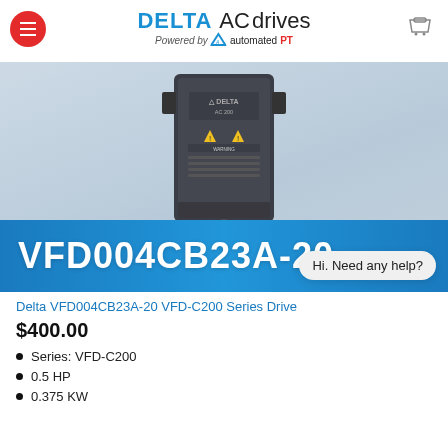[Figure (logo): Delta AC Drives logo - Powered by automated PT]
[Figure (photo): Delta VFD004CB23A-20 AC drive product photo, dark gray device with yellow warning labels, shown against light blue/gray background]
VFD004CB23A-20
Hi. Need any help?
Delta VFD004CB23A-20 VFD-C200 Series Drive
$400.00
Series: VFD-C200
0.5 HP
0.375 KW